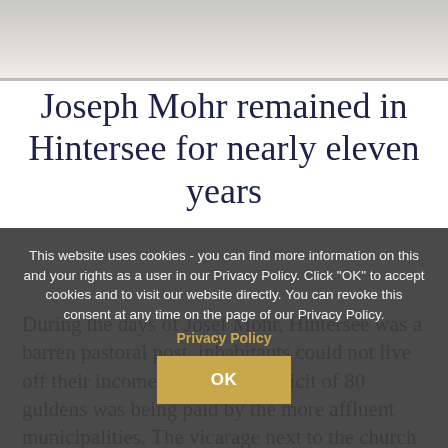[Figure (photo): Photograph partially visible at the top of the page, showing a landscape or outdoor scene.]
Joseph Mohr remained in Hintersee for nearly eleven years
During the days of Josef Mohr, Hintersee was a barren pastoral post, inhabitants could not live off their income. The yearly deficit of 80 guldens was being paid by the more affluent municipalities. The vicarage next to the church had
This website uses cookies - you can find more information on this and your rights as a user in our Privacy Policy. Click "OK" to accept cookies and to visit our website directly. You can revoke this consent at any time on the page of our Privacy Policy.
Privacy Policy
OK